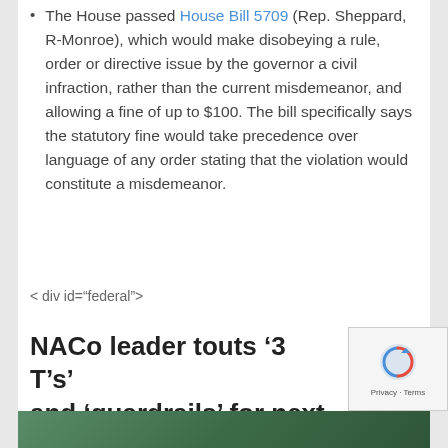The House passed House Bill 5709 (Rep. Sheppard, R-Monroe), which would make disobeying a rule, order or directive issue by the governor a civil infraction, rather than the current misdemeanor, and allowing a fine of up to $100. The bill specifically says the statutory fine would take precedence over language of any order stating that the violation would constitute a misdemeanor.
< div id="federal">
NACo leader touts '3 T's' and 'guardrails' for next federal rescue bill
[Figure (photo): Partial image strip at bottom of page showing an outdoor scene with green/natural tones, partially cropped]